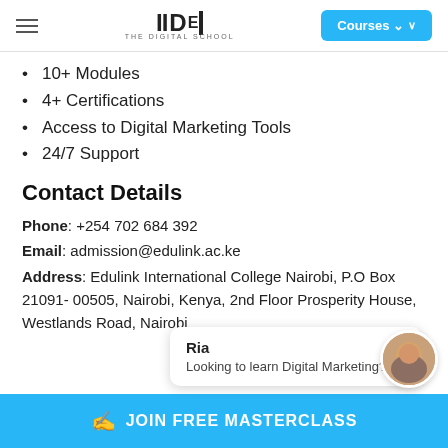IIDE THE DIGITAL SCHOOL | Courses
10+ Modules
4+ Certifications
Access to Digital Marketing Tools
24/7 Support
Contact Details
Phone: +254 702 684 392
Email: admission@edulink.ac.ke
Address: Edulink International College Nairobi, P.O Box 21091- 00505, Nairobi, Kenya, 2nd Floor Prosperity House, Westlands Road, Nairobi
[Figure (screenshot): Chat popup with avatar showing 'Ria' and message 'Looking to learn Digital Marketing?']
JOIN FREE MASTERCLASS